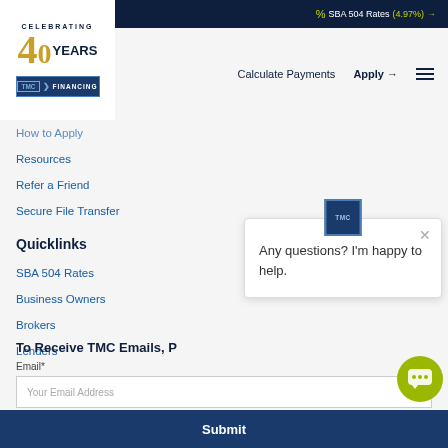SBA 504 Rates (4.97%) →
[Figure (logo): TMC Financing logo with 'Celebrating 40 Years' text and gold/navy branding]
Calculate Payments   Apply →   ☰
How to Apply
Resources
Refer a Friend
Secure File Transfer
Quicklinks
SBA 504 Rates
Business Owners
Brokers
Lenders
To Receive TMC Emails, P
Email*
Your Email Address
[Figure (screenshot): Chat popup bubble with TMC logo icon, close X button, and text: 'Any questions? I'm happy to help.']
Submit